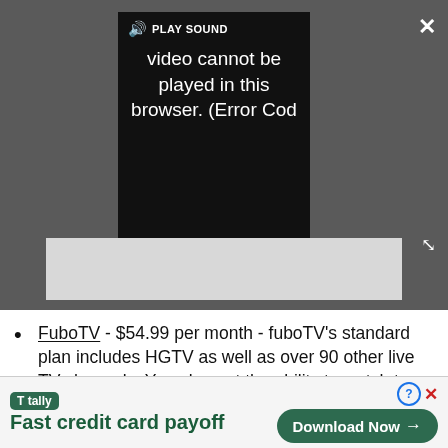[Figure (screenshot): Video player showing error: 'Video cannot be played in this browser. (Error Cod' with PLAY SOUND label and a grey placeholder box below]
FuboTV - $54.99 per month - fuboTV's standard plan includes HGTV as well as over 90 other live TV channels. You also get the ability to watch two streams simultaneously and record up to 30 hours of content using the service's cloud DVR feature.
Hulu with Live TV - $44.99 per month - As well as giving you access to HGTV, the service also includes
[Figure (screenshot): Tally app advertisement banner: 'Fast credit card payoff' with Download Now button]